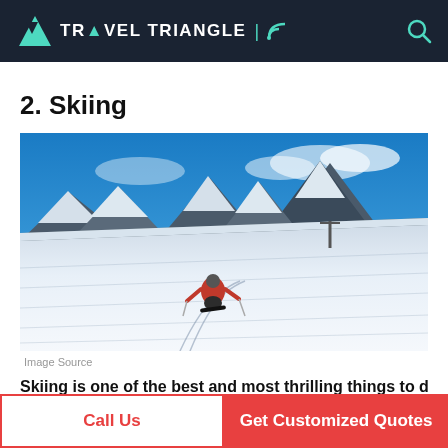TRAVEL TRIANGLE
2. Skiing
[Figure (photo): A skier in a red jacket carving down a snowy alpine slope with dramatic snow-capped mountain peaks in the background under a blue sky.]
Image Source
Skiing is one of the best and most thrilling things to do in...